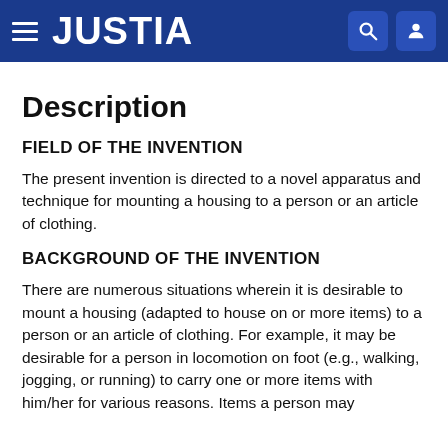JUSTIA
Description
FIELD OF THE INVENTION
The present invention is directed to a novel apparatus and technique for mounting a housing to a person or an article of clothing.
BACKGROUND OF THE INVENTION
There are numerous situations wherein it is desirable to mount a housing (adapted to house on or more items) to a person or an article of clothing. For example, it may be desirable for a person in locomotion on foot (e.g., walking, jogging, or running) to carry one or more items with him/her for various reasons. Items a person may